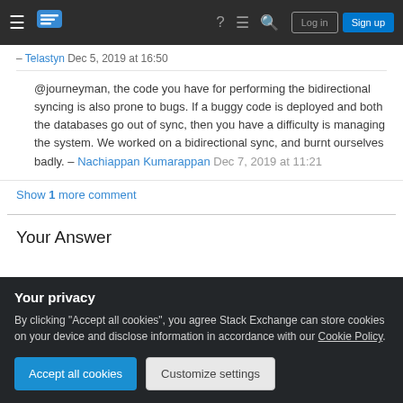Stack Exchange navigation bar with hamburger menu, logo, icons, Log in and Sign up buttons
– Telastyn Dec 5, 2019 at 16:50
@journeyman, the code you have for performing the bidirectional syncing is also prone to bugs. If a buggy code is deployed and both the databases go out of sync, then you have a difficulty is managing the system. We worked on a bidirectional sync, and burnt ourselves badly. – Nachiappan Kumarappan Dec 7, 2019 at 11:21
Show 1 more comment
Your Answer
Your privacy
By clicking "Accept all cookies", you agree Stack Exchange can store cookies on your device and disclose information in accordance with our Cookie Policy.
Accept all cookies  Customize settings